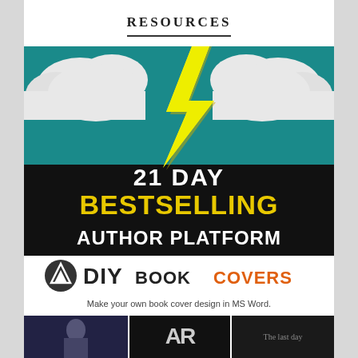RESOURCES
[Figure (illustration): Book cover image: '21 Day Bestselling Author Platform' with lightning bolt and clouds on teal/black background]
[Figure (logo): DIY Book Covers logo with mountain/arrow icon, text 'DIY BOOK COVERS' in black and orange]
Make your own book cover design in MS Word.
[Figure (photo): Strip of book cover thumbnails at the bottom of the page]